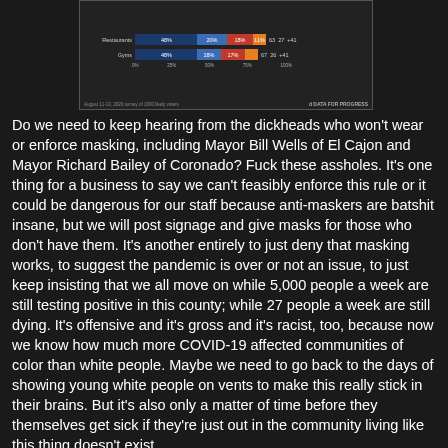[Figure (table-as-image): Partial screenshot of a survey bar chart from Data For Progress showing masked/unmasked responses for Restaurants and Gyms categories, with percentage bars and numeric columns.]
Do we need to keep hearing from the dickheads who won't wear or enforce masking, including Mayor Bill Wells of El Cajon and Mayor Richard Bailey of Coronado? Fuck these assholes. It's one thing for a business to say we can't feasibly enforce this rule or it could be dangerous for our staff because anti-maskers are batshit insane, but we will post signage and give masks for those who don't have them. It's another entirely to just deny that masking works, to suggest the pandemic is over or not an issue, to just keep insisting that we all move on while 5,000 people a week are still testing positive in this county; while 27 people a week are still dying. It's offensive and it's gross and it's racist, too, because now we know how much more COVID-19 affected communities of color than white people. Maybe we need to go back to the days of showing young white people on vents to make this really stick in their brains. But it's also only a matter of time before they themselves get sick if they're just out in the community living like this thing doesn't exist.